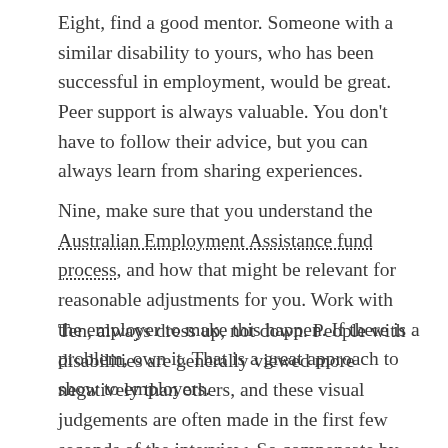Eight, find a good mentor. Someone with a similar disability to yours, who has been successful in employment, would be great. Peer support is always valuable. You don't have to follow their advice, but you can always learn from sharing experiences.
Nine, make sure that you understand the Australian Employment Assistance fund process, and how that might be relevant for reasonable adjustments for you. Work with the employer to make this happen. If there is a problem, own it. That is a great approach to show to employers.
Ten, always dress up, not down. People with disabilities are generally viewed more negatively than others, and these visual judgements are often made in the first few seconds of the interview. So compensate by strutting your stuff.